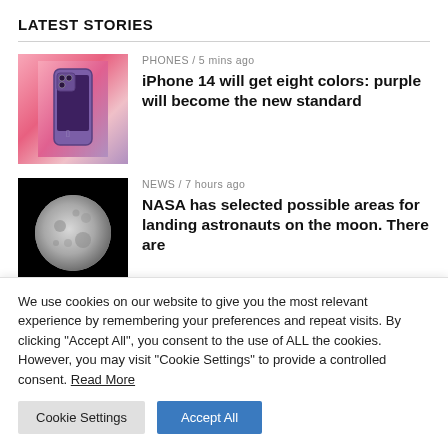LATEST STORIES
[Figure (photo): Purple iPhone 14 Pro on a pink background]
PHONES / 5 mins ago
iPhone 14 will get eight colors: purple will become the new standard
[Figure (photo): Full moon photograph on black background]
NEWS / 7 hours ago
NASA has selected possible areas for landing astronauts on the moon. There are
We use cookies on our website to give you the most relevant experience by remembering your preferences and repeat visits. By clicking "Accept All", you consent to the use of ALL the cookies. However, you may visit "Cookie Settings" to provide a controlled consent. Read More